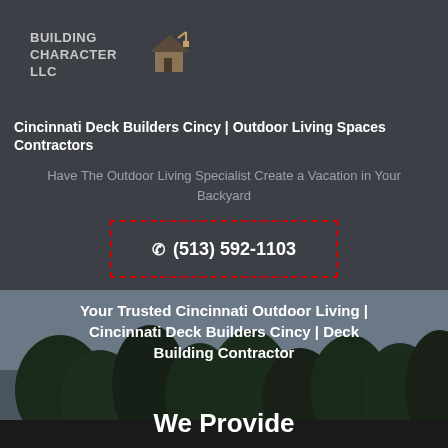[Figure (logo): Building Character LLC logo with house/building icon]
Cincinnati Deck Builders Cincy | Outdoor Living Spaces Contractors
Have The Outdoor Living Specialist Create a Vacation in Your Backyard
(513) 592-1103
Your Trusted Cincinnati Outdoor Living | Cincinnati Deck Builders Cincy | Deck Building Contractor
We Provide